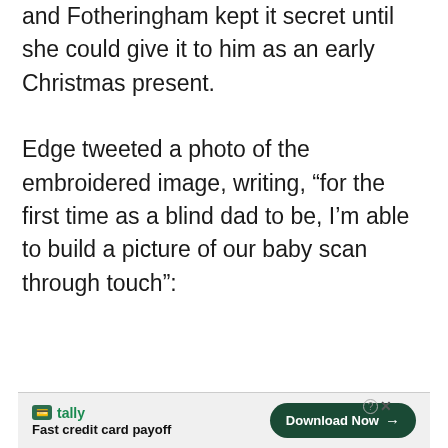and Fotheringham kept it secret until she could give it to him as an early Christmas present.

Edge tweeted a photo of the embroidered image, writing, “for the first time as a blind dad to be, I’m able to build a picture of our baby scan through touch”:
[Figure (screenshot): Embedded tweet from Nathan Edge (@NathanEdge94) with Follow button and Twitter bird icon. Tweet content: 'How incredible is this 😍'. Below: advertisement bar for Tally - 'Fast credit card payoff' with Download Now button.]